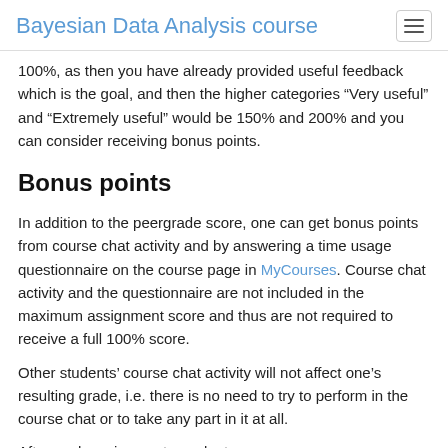Bayesian Data Analysis course
100%, as then you have already provided useful feedback which is the goal, and then the higher categories “Very useful” and “Extremely useful” would be 150% and 200% and you can consider receiving bonus points.
Bonus points
In addition to the peergrade score, one can get bonus points from course chat activity and by answering a time usage questionnaire on the course page in MyCourses. Course chat activity and the questionnaire are not included in the maximum assignment score and thus are not required to receive a full 100% score.
Other students’ course chat activity will not affect one’s resulting grade, i.e. there is no need to try to perform in the course chat or to take any part in it at all.
After each assignment, a voluntary anonymous